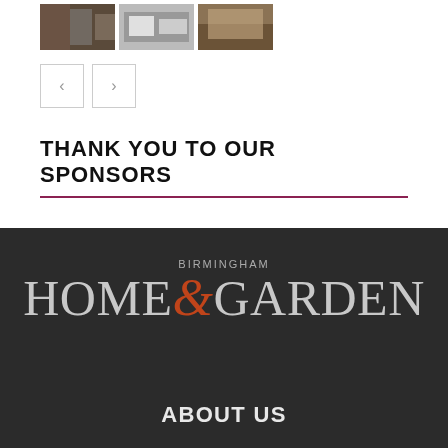[Figure (photo): Three thumbnail images showing interior/furniture scenes]
[Figure (other): Navigation buttons with left and right arrow controls]
THANK YOU TO OUR SPONSORS
[Figure (logo): Birmingham Home & Garden logo in white/grey text with orange ampersand on dark background]
ABOUT US